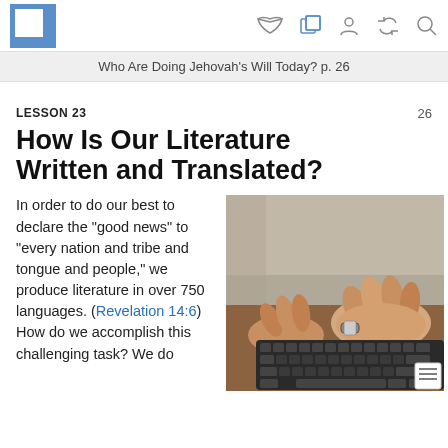Who Are Doing Jehovah’s Will Today? p. 26
LESSON 23
How Is Our Literature Written and Translated?
In order to do our best to declare the “good news” to “every nation and tribe and tongue and people,” we produce literature in over 750 languages. (Revelation 14:6) How do we accomplish this challenging task? We do
[Figure (photo): Close-up photo of hands typing on a computer keyboard on a wooden desk]